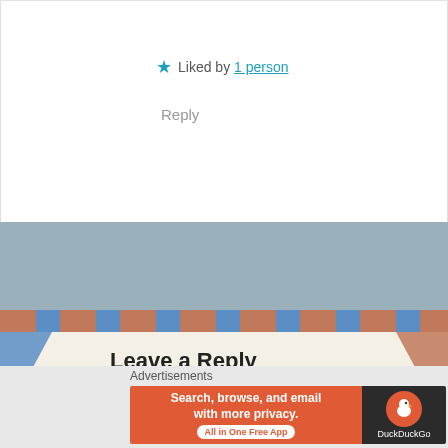★ Liked by 1 person
Reply
[Figure (illustration): Torn paper / lightning bolt icon on blue-grey background]
Leave a Reply
Advertisements
[Figure (screenshot): DuckDuckGo advertisement banner: 'Search, browse, and email with more privacy. All in One Free App' with DuckDuckGo duck logo]